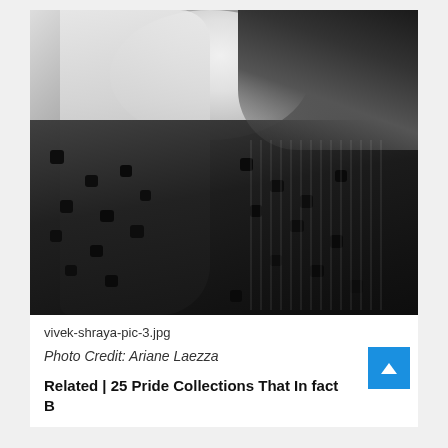[Figure (photo): Black and white portrait photo of a person with long wavy blonde hair wearing a black polka-dot sheer dress with ruffled collar, photographed from chest up against a white background.]
vivek-shraya-pic-3.jpg
Photo Credit: Ariane Laezza
Related | 25 Pride Collections That In fact Bewrold LSBTQ+S...